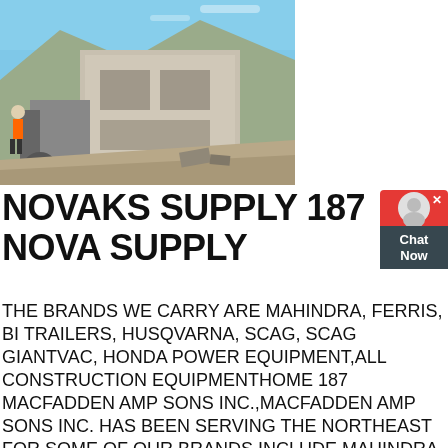[Figure (photo): Construction/excavation site with heavy machinery and concrete structures against a hillside, blue sky visible]
NOVAKS SUPPLY 187 NOVA SUPPLY
THE BRANDS WE CARRY ARE MAHINDRA, FERRIS, BI TRAILERS, HUSQVARNA, SCAG, SCAG GIANTVAC, HONDA POWER EQUIPMENT,ALL CONSTRUCTION EQUIPMENTHOME 187 MACFADDEN AMP SONS INC.,MACFADDEN AMP SONS INC. HAS BEEN SERVING THE NORTHEAST FOR,SOME OF OUR BRANDS INCLUDE MAHINDRA, WOODS,,AG EQUIPMENT, AND CONSTRUCTION EQUIPMENT.,EARHART EQUIPMENT CORPORATION TUCSON,,WE SPECIALIZE IN OFFERING NEW AND USED CONSTRUCTION AND AGRICULTURE EQUIPMENT FROM INDUSTRY LEADING MANUFACTURERS SUCH AS NEW HOLLAND, MAHINDRA,